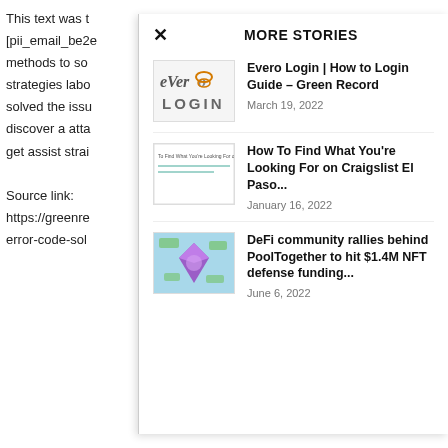This text was t
[pii_email_be2e
methods to so
strategies labo
solved the issu
discover a atta
get assist strai

Source link:
https://greenre
error-code-sol
MORE STORIES
[Figure (logo): Evero login logo with stylized cursive text 'eVero' in gray/orange and 'LOGIN' text below]
Evero Login | How to Login Guide – Green Record
March 19, 2022
[Figure (screenshot): Small thumbnail showing Craigslist El Paso page with green underlined text]
How To Find What You're Looking For on Craigslist El Paso...
January 16, 2022
[Figure (illustration): Colorful illustration of a cartoon character with money/cash flying around, purple gem shape, on a blue/green background]
DeFi community rallies behind PoolTogether to hit $1.4M NFT defense funding...
June 6, 2022